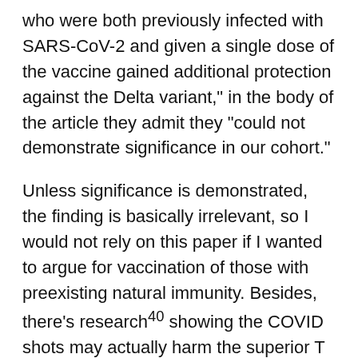prophy... claim in their abstract that "individuals who were both previously infected with SARS-CoV-2 and given a single dose of the vaccine gained additional protection against the Delta variant," in the body of the article they admit they "could not demonstrate significance in our cohort."
Unless significance is demonstrated, the finding is basically irrelevant, so I would not rely on this paper if I wanted to argue for vaccination of those with preexisting natural immunity. Besides, there's research²⁰ showing the COVID shots may actually harm the superior T cell immunity built up from prior infection, especially after the second dose. As reported by Horowitz in The Blaze:⁴¹
“Immunologists from Mount Sinai in New York and